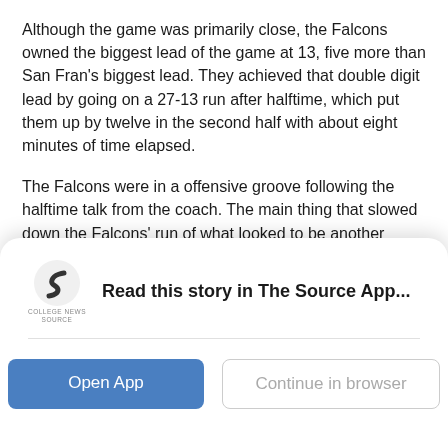Although the game was primarily close, the Falcons owned the biggest lead of the game at 13, five more than San Fran's biggest lead. They achieved that double digit lead by going on a 27-13 run after halftime, which put them up by twelve in the second half with about eight minutes of time elapsed.
The Falcons were in a offensive groove following the halftime talk from the coach. The main thing that slowed down the Falcons' run of what looked to be another blowout win for the boys in blue were foul calls.
San Francisco College shot a total of 32 freebies to
[Figure (logo): College News Source logo — stylized S shape in dark color with text COLLEGE NEWS SOURCE below]
Read this story in The Source App...
Open App
Continue in browser